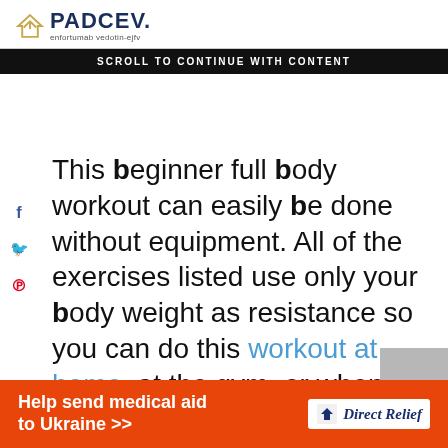[Figure (logo): PADCEV logo with house/arrow icon and tagline 'enfortumab vedotin-ejfv']
SCROLL TO CONTINUE WITH CONTENT
This beginner full body workout can easily be done without equipment. All of the exercises listed use only your body weight as resistance so you can do this workout at home, at the gym, or when traveling.
There is only 1 exercise listed that requires any kind of equipment. I typically use a chair at home to do it
[Figure (infographic): Bottom orange ad banner: Help send medical aid to Ukraine >> with Direct Relief logo]